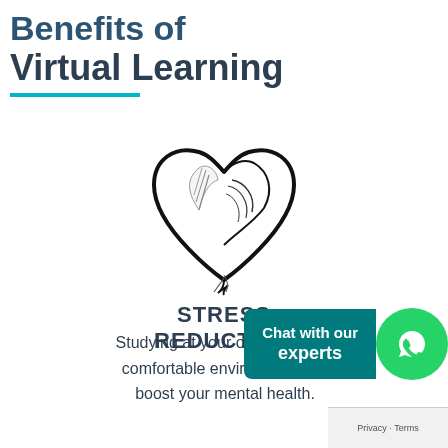Benefits of Virtual Learning
[Figure (illustration): Heart shape illustration with feather inside, representing stress reduction concept]
STRESS REDUCTION
Studying at your own pace in a comfortable environment can boost your mental health.